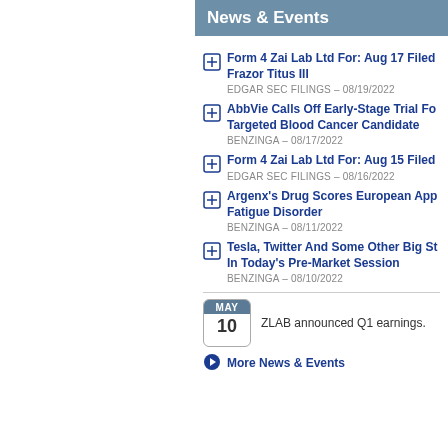News & Events
Form 4 Zai Lab Ltd For: Aug 17 Filed Frazor Titus III
EDGAR SEC FILINGS – 08/19/2022
AbbVie Calls Off Early-Stage Trial For Targeted Blood Cancer Candidate
BENZINGA – 08/17/2022
Form 4 Zai Lab Ltd For: Aug 15 Filed
EDGAR SEC FILINGS – 08/16/2022
Argenx's Drug Scores European App Fatigue Disorder
BENZINGA – 08/11/2022
Tesla, Twitter And Some Other Big St In Today's Pre-Market Session
BENZINGA – 08/10/2022
ZLAB announced Q1 earnings.
More News & Events